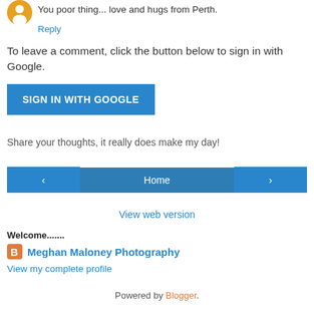[Figure (illustration): Orange circular Blogger avatar/icon]
You poor thing... love and hugs from Perth.
Reply
To leave a comment, click the button below to sign in with Google.
[Figure (other): Blue 'SIGN IN WITH GOOGLE' button]
Share your thoughts, it really does make my day!
[Figure (other): Navigation bar with left arrow, Home button, and right arrow]
View web version
Welcome.......
[Figure (logo): Blogger orange square icon]
Meghan Maloney Photography
View my complete profile
Powered by Blogger.